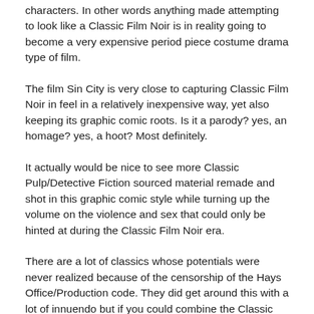characters. In other words anything made attempting to look like a Classic Film Noir is in reality going to become a very expensive period piece costume drama type of film.
The film Sin City is very close to capturing Classic Film Noir in feel in a relatively inexpensive way, yet also keeping its graphic comic roots. Is it a parody? yes, an homage? yes, a hoot? Most definitely.
It actually would be nice to see more Classic Pulp/Detective Fiction sourced material remade and shot in this graphic comic style while turning up the volume on the violence and sex that could only be hinted at during the Classic Film Noir era.
There are a lot of classics whose potentials were never realized because of the censorship of the Hays Office/Production code. They did get around this with a lot of innuendo but if you could combine the Classic Noir Style and the Noir innuendo with and up the graphic violence and the sex I think we could have something pretty cool, like another fan of